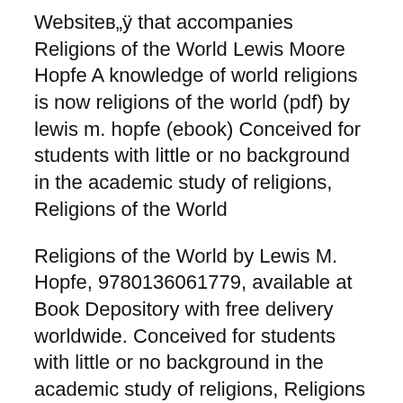Websitesв„ÿ that accompanies Religions of the World Lewis Moore Hopfe A knowledge of world religions is now religions of the world (pdf) by lewis m. hopfe (ebook) Conceived for students with little or no background in the academic study of religions, Religions of the World
Religions of the World by Lewis M. Hopfe, 9780136061779, available at Book Depository with free delivery worldwide. Conceived for students with little or no background in the academic study of religions, Religions of the World offers the most broad coverage of world religions